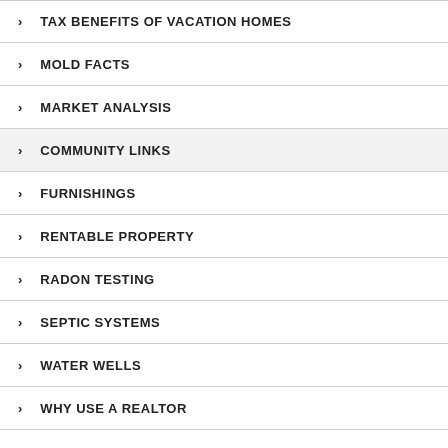TAX BENEFITS OF VACATION HOMES
MOLD FACTS
MARKET ANALYSIS
COMMUNITY LINKS
FURNISHINGS
RENTABLE PROPERTY
RADON TESTING
SEPTIC SYSTEMS
WATER WELLS
WHY USE A REALTOR